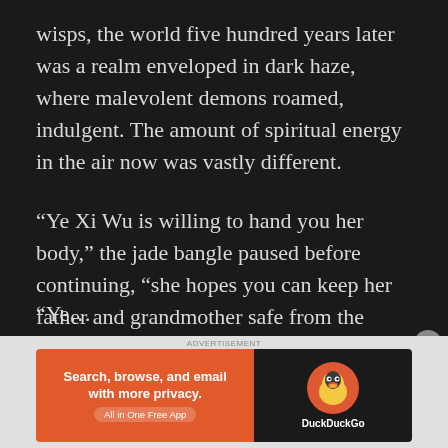wisps, the world five hundred years later was a realm enveloped in dark haze, where malevolent demons roamed, indulgent. The amount of spiritual energy in the air now was vastly different.
“Ye Xi Wu is willing to hand you her body,” the jade bangle paused before continuing, “she hopes you can keep her father and grandmother safe from the hands of that devil.”
Su Su replied: “Tell Ye Xi Wu, that I will ccomplete her request.”
“Ye… [partial, cut off]
[Figure (screenshot): DuckDuckGo advertisement banner: orange left panel with text 'Search, browse, and email with more privacy. All in One Free App' and dark right panel with DuckDuckGo logo and name.]